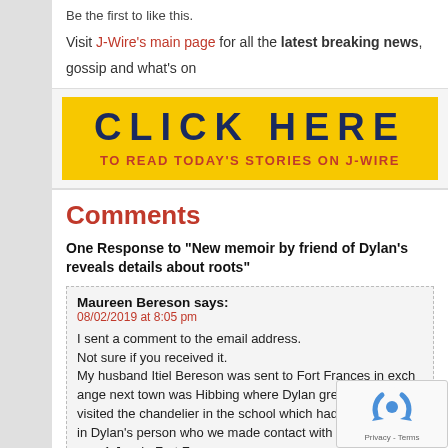Be the first to like this.
Visit J-Wire's main page for all the latest breaking news, gossip and what's on
[Figure (other): Yellow banner with dark blue bold uppercase text 'CLICK HERE' and red text below 'TO READ TODAY'S STORIES ON J-WIRE']
Comments
One Response to "New memoir by friend of Dylan's reveals details about roots"
Maureen Bereson says:
08/02/2019 at 8:05 pm

I sent a comment to the email address.
Not sure if you received it.
My husband Itiel Bereson was sent to Fort Frances in exchange next town was Hibbing where Dylan grew up. We visited the chandelier in the school which had been donated in Dylan's person who we made contact with in 1993. There was 1 Jew in Fort Fr...